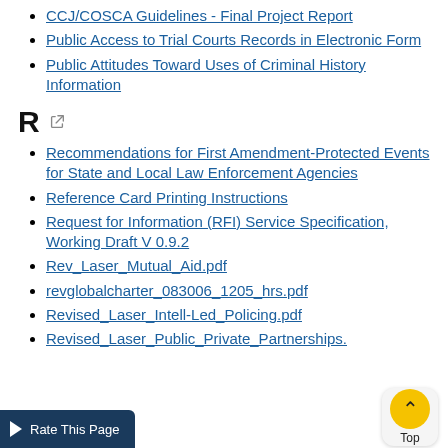CCJ/COSCA Guidelines - Final Project Report
Public Access to Trial Courts Records in Electronic Form
Public Attitudes Toward Uses of Criminal History Information
R
Recommendations for First Amendment-Protected Events for State and Local Law Enforcement Agencies
Reference Card Printing Instructions
Request for Information (RFI) Service Specification, Working Draft V 0.9.2
Rev_Laser_Mutual_Aid.pdf
revglobalcharter_083006_1205_hrs.pdf
Revised_Laser_Intell-Led_Policing.pdf
Revised_Laser_Public_Private_Partnerships.